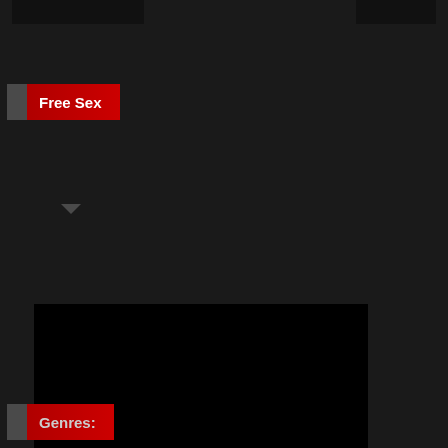[Figure (screenshot): Two dark thumbnail images at top of page]
Free Sex
[Figure (screenshot): Large black video preview area with SEE MORE overlay in bottom right corner]
Genres: